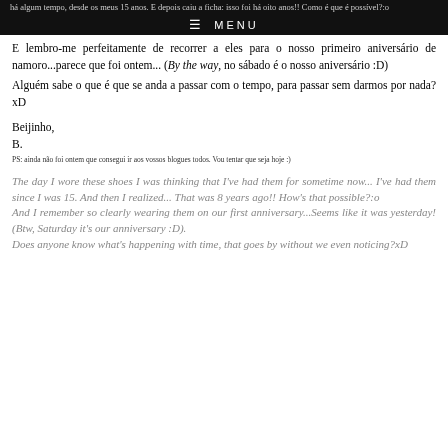≡ MENU
E lembro-me perfeitamente de recorrer a eles para o nosso primeiro aniversário de namoro...parece que foi ontem... (By the way, no sábado é o nosso aniversário :D)
Alguém sabe o que é que se anda a passar com o tempo, para passar sem darmos por nada?xD
Beijinho,
B.
PS: ainda não foi ontem que consegui ir aos vossos blogues todos. Vou tentar que seja hoje :)
The day I wore these shoes I was thinking that I've had them for sometime now... I've had them since I was 15. And then I realized... That was 8 years ago!! How's that possible?:o
And I remember so clearly wearing them on our first anniversary...Seems like it was yesterday! (Btw, Saturday it's our anniversary :D).
Does anyone know what's happening with time, that goes by without we even noticing?xD